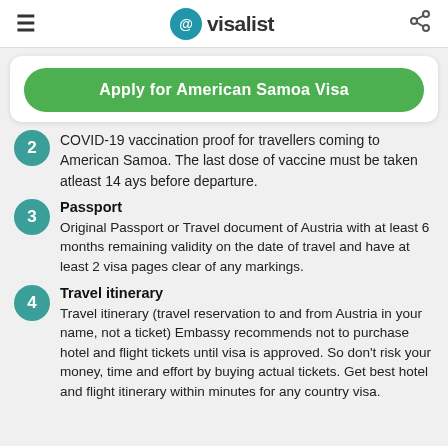≡ visalist <share>
Apply for American Samoa Visa
COVID-19 vaccination proof for travellers coming to American Samoa. The last dose of vaccine must be taken atleast 14 ays before departure.
Passport
Original Passport or Travel document of Austria with at least 6 months remaining validity on the date of travel and have at least 2 visa pages clear of any markings.
Travel itinerary
Travel itinerary (travel reservation to and from Austria in your name, not a ticket) Embassy recommends not to purchase hotel and flight tickets until visa is approved. So don't risk your money, time and effort by buying actual tickets. Get best hotel and flight itinerary within minutes for any country visa.